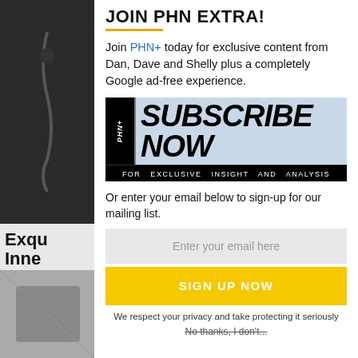JOIN PHN EXTRA!
Join PHN+ today for exclusive content from Dan, Dave and Shelly plus a completely Google ad-free experience.
[Figure (other): Subscribe Now banner with PHN+ badge, large italic text SUBSCRIBE NOW, and subtext FOR EXCLUSIVE INSIGHT AND ANALYSIS FROM DAN KINGERSKI & SHELLY ANDERSON]
Or enter your email below to sign-up for our mailing list.
Enter your email here
SIGN UP NOW
We respect your privacy and take protecting it seriously
No thanks, I don't...